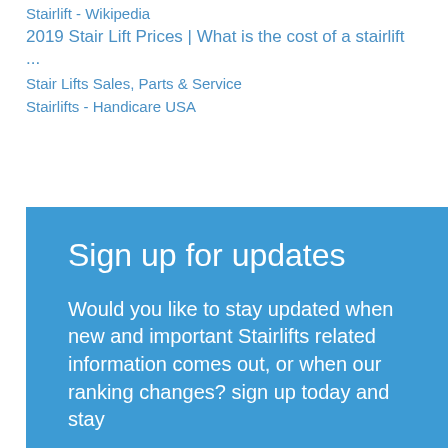Stairlift - Wikipedia
2019 Stair Lift Prices | What is the cost of a stairlift ...
Stair Lifts Sales, Parts & Service
Stairlifts - Handicare USA
Sign up for updates
Would you like to stay updated when new and important Stairlifts related information comes out, or when our ranking changes? sign up today and stay